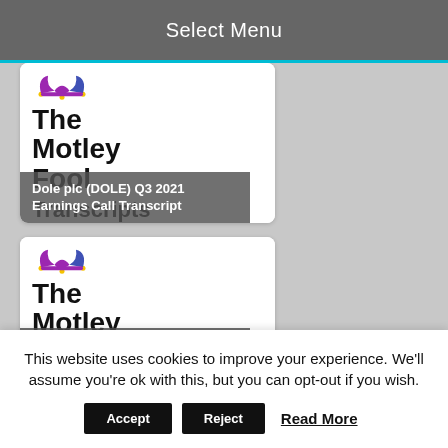Select Menu
[Figure (logo): The Motley Fool logo with jester hat (purple/blue) and brand name in bold black text, card for Dole plc (DOLE) Q3 2021 Earnings Call Transcript]
Dole plc (DOLE) Q3 2021 Earnings Call Transcript
[Figure (logo): The Motley Fool logo with jester hat (purple/blue) and brand name in bold black text, card for The Lovesac Company (LOVE) Q3 2022 Earnings Call Transcript]
The Lovesac Company (LOVE) Q3 2022 Earnings Call Transcript
This website uses cookies to improve your experience. We'll assume you're ok with this, but you can opt-out if you wish.
Accept   Reject   Read More